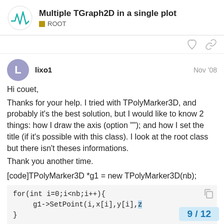Multiple TGraph2D in a single plot | ROOT
lixo1  Nov '08
Hi couet,
Thanks for your help. I tried with TPolyMarker3D, and probably it's the best solution, but I would like to know 2 things: how I draw the axis (option ""); and how I set the title (if it's possible with this class). I look at the root class but there isn't theses informations.
Thank you another time.
[code]TPolyMarker3D *g1 = new TPolyMarker3D(nb);
for(int i=0;i<nb;i++){
        g1->SetPoint(i,x[i],y[i],z
}
9 / 12